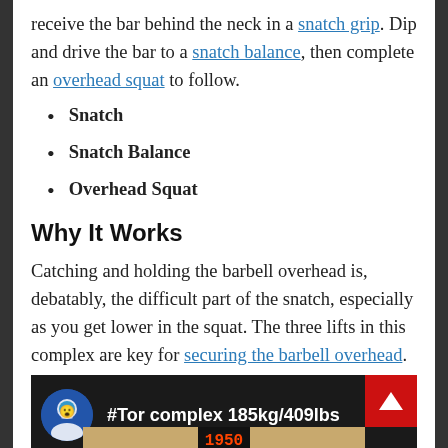receive the bar behind the neck in a snatch grip. Dip and drive the bar to a snatch balance, then complete an overhead squat to follow.
Snatch
Snatch Balance
Overhead Squat
Why It Works
Catching and holding the barbell overhead is, debatably, the difficult part of the snatch, especially as you get lower in the squat. The three lifts in this complex are key for securing the barbell overhead.
[Figure (screenshot): Video thumbnail showing weightlifter with #Tor complex 185kg/409lbs title text, avatar circle on left, red back-to-top button on right, barbell equipment visible at bottom.]